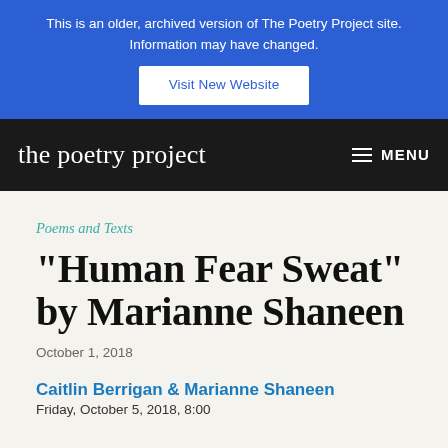This is an older, archived version of The Poetry Project site. Information may have changed. Visit New Website
the poetry project  MENU
Poems and Texts
“Human Fear Sweat” by Marianne Shaneen
October 1, 2018
Caitlin Berrigan & Marianne Shaneen
Friday, October 5, 2018, 8:00